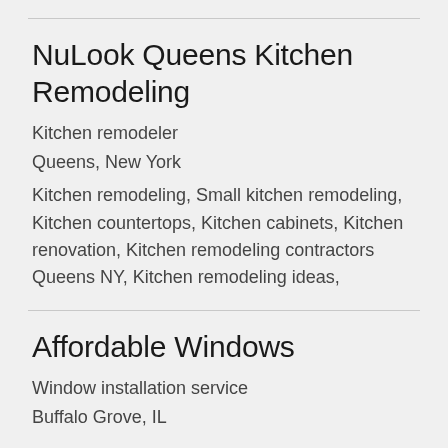NuLook Queens Kitchen Remodeling
Kitchen remodeler
Queens, New York
Kitchen remodeling, Small kitchen remodeling, Kitchen countertops, Kitchen cabinets, Kitchen renovation, Kitchen remodeling contractors Queens NY, Kitchen remodeling ideas,
Affordable Windows
Window installation service
Buffalo Grove, IL